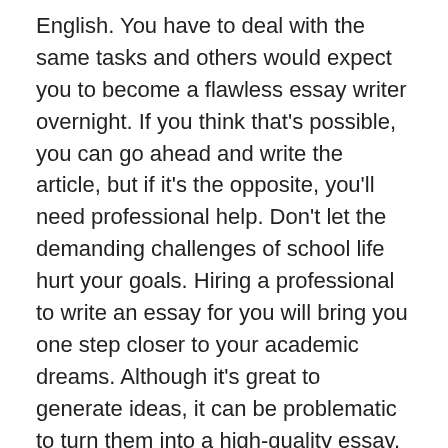English. You have to deal with the same tasks and others would expect you to become a flawless essay writer overnight. If you think that's possible, you can go ahead and write the article, but if it's the opposite, you'll need professional help. Don't let the demanding challenges of school life hurt your goals. Hiring a professional to write an essay for you will bring you one step closer to your academic dreams. Although it's great to generate ideas, it can be problematic to turn them into a high-quality essay.
In addition, Philip likes to write and does independent scientific writing as a hobby. You can rely on Philip for essays that require a thorough understanding and analysis of the extensive